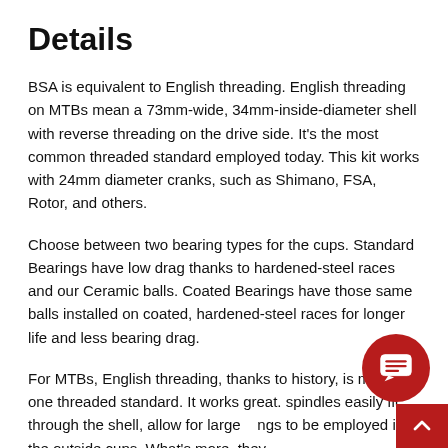Details
BSA is equivalent to English threading. English threading on MTBs mean a 73mm-wide, 34mm-inside-diameter shell with reverse threading on the drive side. It's the most common threaded standard employed today. This kit works with 24mm diameter cranks, such as Shimano, FSA, Rotor, and others.
Choose between two bearing types for the cups. Standard Bearings have low drag thanks to hardened-steel races and our Ceramic balls. Coated Bearings have those same balls installed on coated, hardened-steel races for longer life and less bearing drag.
For MTBs, English threading, thanks to history, is much the one threaded standard. It works great. spindles easily fit through the shell, allow for large ngs to be employed in the outside cups. What's more, they